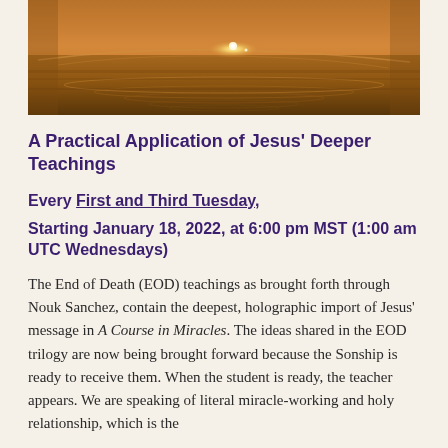[Figure (photo): Sunset reflection on rippling water surface with golden-orange light]
A Practical Application of Jesus' Deeper Teachings
Every First and Third Tuesday,
Starting January 18, 2022, at 6:00 pm MST (1:00 am UTC Wednesdays)
The End of Death (EOD) teachings as brought forth through Nouk Sanchez, contain the deepest, holographic import of Jesus' message in A Course in Miracles. The ideas shared in the EOD trilogy are now being brought forward because the Sonship is ready to receive them. When the student is ready, the teacher appears. We are speaking of literal miracle-working and holy relationship, which is the